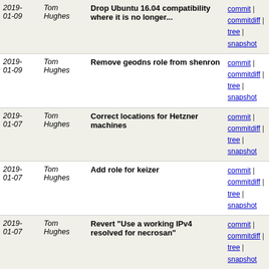| Date | Author | Message | Links |
| --- | --- | --- | --- |
| 2019-01-09 | Tom Hughes | Drop Ubuntu 16.04 compatibility where it is no longer... | commit | commitdiff | tree | snapshot |
| 2019-01-09 | Tom Hughes | Remove geodns role from shenron | commit | commitdiff | tree | snapshot |
| 2019-01-07 | Tom Hughes | Correct locations for Hetzner machines | commit | commitdiff | tree | snapshot |
| 2019-01-07 | Tom Hughes | Add role for keizer | commit | commitdiff | tree | snapshot |
| 2019-01-07 | Tom Hughes | Revert "Use a working IPv4 resolved for necrosan" | commit | commitdiff | tree | snapshot |
| 2019-01-07 | Tom Hughes | Document location of necrosan | commit | commitdiff | tree | snapshot |
| 2019-01-07 | Tom Hughes | Allow snmp to necrosan | commit | commitdiff | tree | snapshot |
| 2019-01-07 | Tom Hughes | Use a working IPv4 resolved for necrosan | commit | commitdiff | tree | snapshot |
| 2019-01-07 | Tom Hughes | Add role for necrosan | commit | commitdiff | tree | snapshot |
| 2019-01-05 | Tom Hughes | Correct location | commit | commitdiff | tree | snapshot |
| 2019-... | Tom... | Correct IP address | commit | |